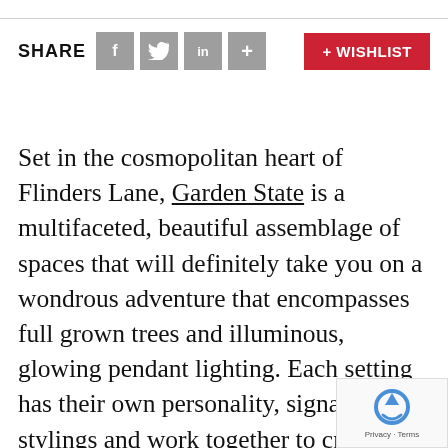[Figure (infographic): Share bar with social icons (Facebook, Twitter, LinkedIn, plus) and a red + WISHLIST button]
Set in the cosmopolitan heart of Flinders Lane, Garden State is a multifaceted, beautiful assemblage of spaces that will definitely take you on a wondrous adventure that encompasses full grown trees and illuminous, glowing pendant lighting. Each setting has their own personality, signature stylings and work together to creative a stunning maze of modern spaces. With a precise eye for detail, Garden State is perfect